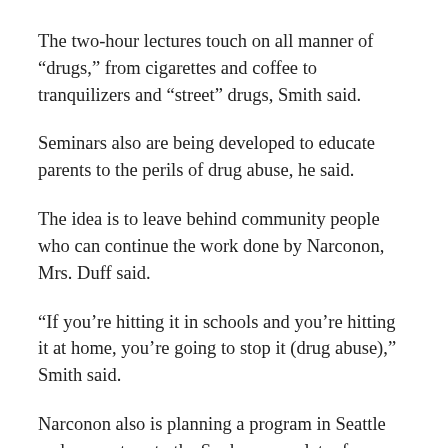The two-hour lectures touch on all manner of “drugs,” from cigarettes and coffee to tranquilizers and “street” drugs, Smith said.
Seminars also are being developed to educate parents to the perils of drug abuse, he said.
The idea is to leave behind community people who can continue the work done by Narconon, Mrs. Duff said.
“If you’re hitting it in schools and you’re hitting it at home, you’re going to stop it (drug abuse),” Smith said.
Narconon also is planning a program in Seattle and may return to the Spokane area later for additional presentations, he said.